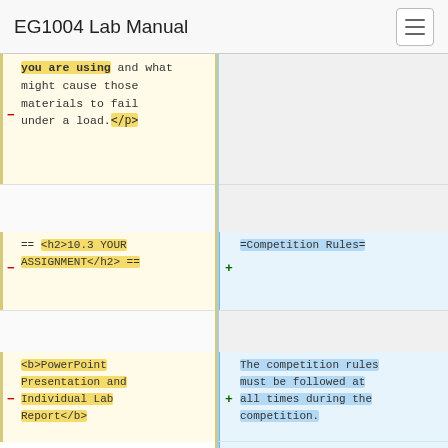EG1004 Lab Manual
you are using and what might cause those materials to fail under a load.</p>
== <h2>10.3 YOUR ASSIGNMENT</h2> ==
=Competition Rules=
<b>PowerPoint Presentation and Individual Lab Report</b>
The competition rules must be followed at all times during the competition.
Violation of any of these rules will result in the disqualification of the design